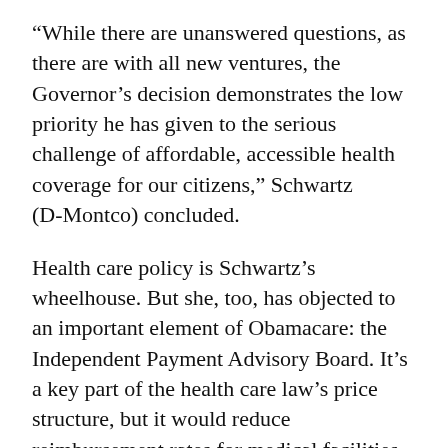“While there are unanswered questions, as there are with all new ventures, the Governor’s decision demonstrates the low priority he has given to the serious challenge of affordable, accessible health coverage for our citizens,” Schwartz (D-Montco) concluded.
Health care policy is Schwartz’s wheelhouse. But she, too, has objected to an important element of Obamacare: the Independent Payment Advisory Board. It’s a key part of the health care law’s price structure, but it would reduce reimbursement rates for medical facilities – one of Schwartz’s key constituencies.
Update: John Hanger, the former DEP